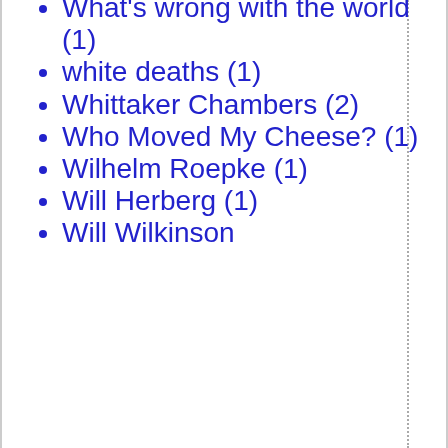What's wrong with the world (1)
white deaths (1)
Whittaker Chambers (2)
Who Moved My Cheese? (1)
Wilhelm Roepke (1)
Will Herberg (1)
Will Wilkinson